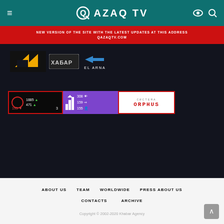QAZAQ TV
NEW VERSION OF THE SITE WITH THE LATEST UPDATES AT THIS ADDRESS QAZAQTV.COM
[Figure (screenshot): Channel logos area: yellow logo, ХАБАР logo, EL ARNA logo with blue arrow]
[Figure (screenshot): Stats widgets: red circle widget showing 1885 up, 471 up, 193 down, 3; purple bar chart widget showing 308 eye, 159 arrow, 155 person; Sistema ORPHUS widget]
ABOUT US
TEAM
WORLDWIDE
PRESS ABOUT US
CONTACTS
ARCHIVE
Copyright © 2002-2020 Khabar Agency